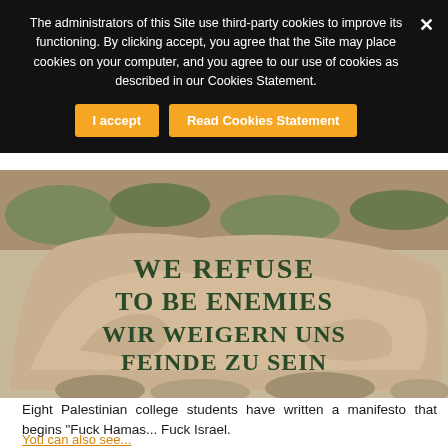The administrators of this Site use third-party cookies to improve its functioning. By clicking accept, you agree that the Site may place cookies on your computer, and you agree to our use of cookies as described in our Cookies Statement.
[Figure (photo): A large stone with text painted on it reading 'WE REFUSE TO BE ENEMIES' in English and 'WIR WEIGERN UNS FEINDE ZU SEIN' in German, set among rocky terrain.]
Eight Palestinian college students have written a manifesto that begins "Fuck Hamas... Fuck Israel.